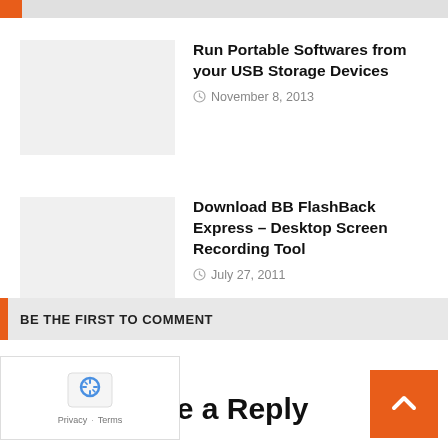Run Portable Softwares from your USB Storage Devices — November 8, 2013
Download BB FlashBack Express – Desktop Screen Recording Tool — July 27, 2011
Download GammaSutra – Quickly Change the Gamma on Your Screen — August 2, 2011
BE THE FIRST TO COMMENT
ve a Reply